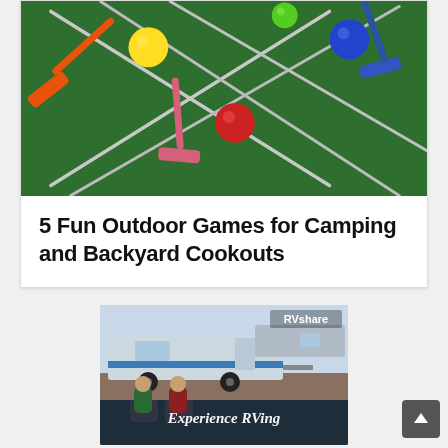[Figure (photo): Overhead view of colorful croquet mallets and balls (orange, pink, blue mallets; yellow, red, blue, green balls) arranged on green grass, with crossed metal sticks]
5 Fun Outdoor Games for Camping and Backyard Cookouts
[Figure (photo): RVshare advertisement showing a travel trailer parked at a campsite with two people sitting in camp chairs below text reading 'Experience RVing']